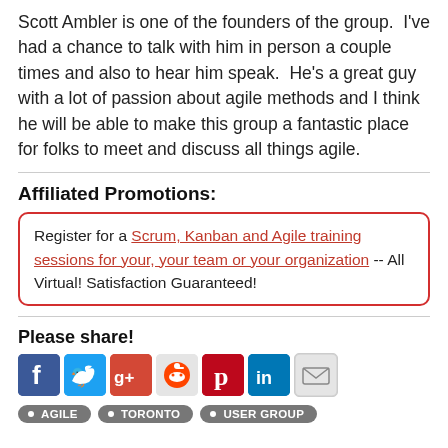Scott Ambler is one of the founders of the group.  I've had a chance to talk with him in person a couple times and also to hear him speak.  He's a great guy with a lot of passion about agile methods and I think he will be able to make this group a fantastic place for folks to meet and discuss all things agile.
Affiliated Promotions:
Register for a Scrum, Kanban and Agile training sessions for your, your team or your organization -- All Virtual! Satisfaction Guaranteed!
Please share!
[Figure (infographic): Social sharing icons: Facebook, Twitter, Google+, Reddit, Pinterest, LinkedIn, Email]
AGILE
TORONTO
USER GROUP